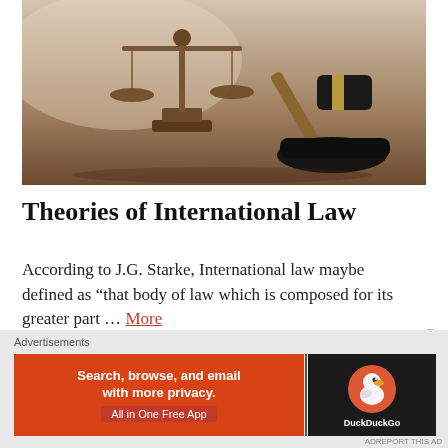[Figure (photo): Photograph of a bronze scales of justice and a wooden judge's gavel on a wooden surface, representing law and justice themes.]
Theories of International Law
According to J.G. Starke, International law maybe defined as “that body of law which is composed for its greater part … More
Advertisements
[Figure (screenshot): DuckDuckGo advertisement banner: orange background with text 'Search, browse, and email with more privacy. All in One Free App' and DuckDuckGo logo on dark background.]